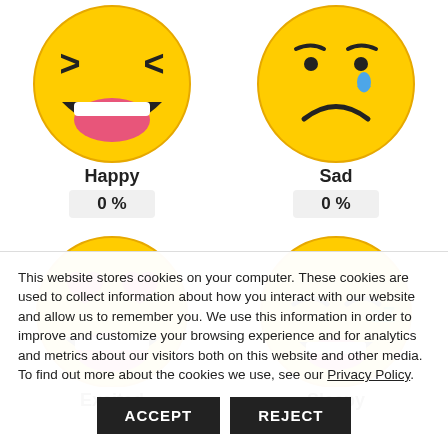[Figure (illustration): Happy laughing emoji face with squinting eyes and open mouth showing teeth]
Happy
0 %
[Figure (illustration): Sad emoji face with frowning mouth and a tear drop]
Sad
0 %
[Figure (illustration): Excited heart-eyes emoji with pink hearts as eyes and open laughing mouth]
Excited
0 %
[Figure (illustration): Sleepy emoji with closed eyes and open mouth with green ZZ letters indicating sleep]
Sleepy
0 %
This website stores cookies on your computer. These cookies are used to collect information about how you interact with our website and allow us to remember you. We use this information in order to improve and customize your browsing experience and for analytics and metrics about our visitors both on this website and other media. To find out more about the cookies we use, see our Privacy Policy.
ACCEPT
REJECT